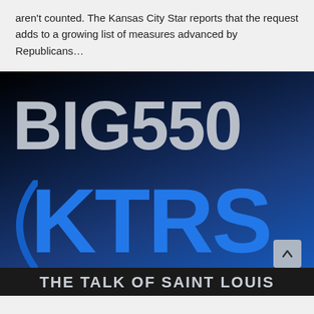aren't counted. The Kansas City Star reports that the request adds to a growing list of measures advanced by Republicans…
[Figure (logo): BIG 550 KTRS – The Talk of Saint Louis radio station logo. Large bold gray text 'BIG550' on dark navy/black gradient background, with bright blue bold 'KTRS' below, and tagline 'THE TALK OF SAINT LOUIS' at the bottom in white on dark bar.]